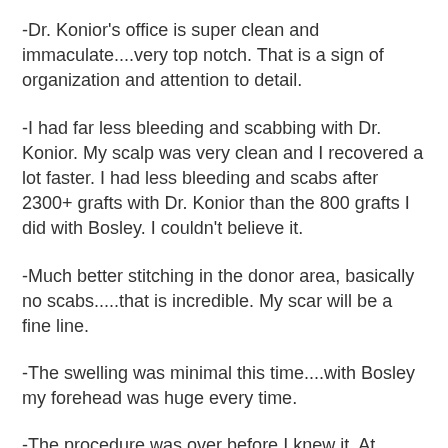-Dr. Konior's office is super clean and immaculate....very top notch. That is a sign of organization and attention to detail.
-I had far less bleeding and scabbing with Dr. Konior. My scalp was very clean and I recovered a lot faster. I had less bleeding and scabs after 2300+ grafts with Dr. Konior than the 800 grafts I did with Bosley. I couldn't believe it.
-Much better stitching in the donor area, basically no scabs.....that is incredible. My scar will be a fine line.
-The swelling was minimal this time....with Bosley my forehead was huge every time.
-The procedure was over before I knew it. At Bosley you watch movies why assistants, not doctors, put the grafts in. This is